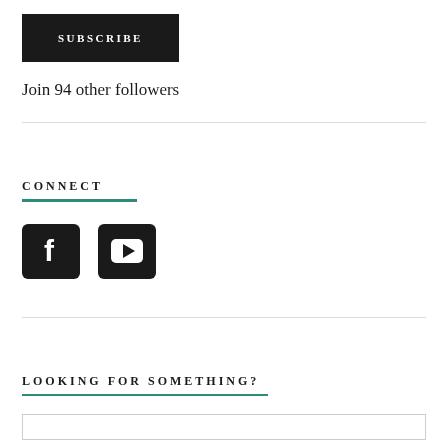SUBSCRIBE
Join 94 other followers
CONNECT
[Figure (illustration): Facebook and YouTube social media icons, black rounded square backgrounds]
LOOKING FOR SOMETHING?